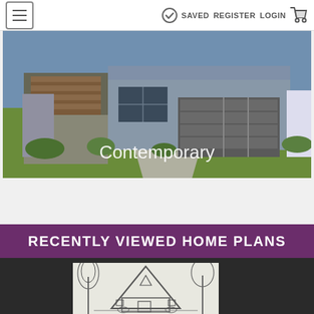☰  ✓ SAVED  REGISTER  LOGIN  🛒
[Figure (photo): Contemporary style house exterior with stone and wood facade, large garage, green lawn, overlaid with text 'Contemporary']
RECENTLY VIEWED HOME PLANS
[Figure (illustration): Black and white architectural sketch/drawing of an A-frame style house with tall trees surrounding it]